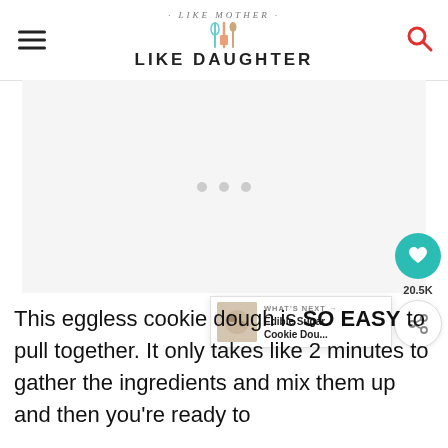· LIKE MOTHER · LIKE DAUGHTER
[Figure (illustration): Advertisement placeholder area with three light gray dots centered in a white/light gray box.]
[Figure (infographic): Social sidebar with teal heart button, 20.5K count, and share button. Plus a 'WHAT'S NEXT' widget with thumbnail image and text 'Edible Sugar Cookie Dou...']
This eggless cookie dough is SO EASY to pull together. It only takes like 2 minutes to gather the ingredients and mix them up and then you're ready to